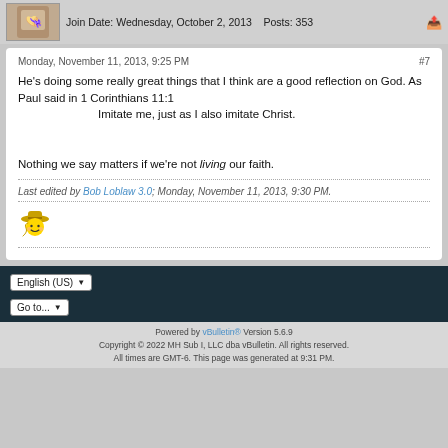Join Date: Wednesday, October 2, 2013   Posts: 353
Monday, November 11, 2013, 9:25 PM   #7
He's doing some really great things that I think are a good reflection on God. As Paul said in 1 Corinthians 11:1
    Imitate me, just as I also imitate Christ.

Nothing we say matters if we're not living our faith.
Last edited by Bob Loblaw 3.0; Monday, November 11, 2013, 9:30 PM.
[Figure (illustration): Cowboy smiley face emoji]
Powered by vBulletin® Version 5.6.9
Copyright © 2022 MH Sub I, LLC dba vBulletin. All rights reserved.
All times are GMT-6. This page was generated at 9:31 PM.